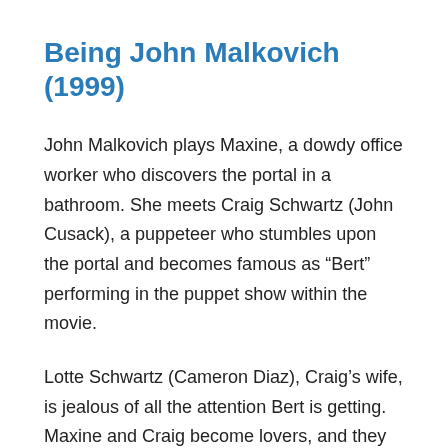Being John Malkovich (1999)
John Malkovich plays Maxine, a dowdy office worker who discovers the portal in a bathroom. She meets Craig Schwartz (John Cusack), a puppeteer who stumbles upon the portal and becomes famous as “Bert” performing in the puppet show within the movie.
Lotte Schwartz (Cameron Diaz), Craig’s wife, is jealous of all the attention Bert is getting. Maxine and Craig become lovers, and they start to fantasize about what it would be like